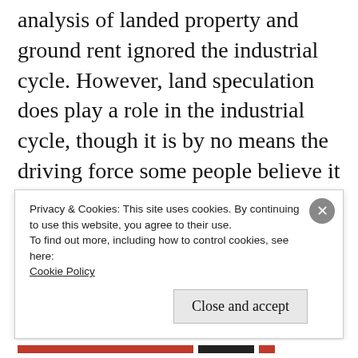analysis of landed property and ground rent ignored the industrial cycle. However, land speculation does play a role in the industrial cycle, though it is by no means the driving force some people believe it to be. As we have seen throughout this blog, the driving force of the industrial cycle is the capitalist competition that inevitably leads to periodic crises of overproduction, not speculation in stocks and real estate, which is only a
Privacy & Cookies: This site uses cookies. By continuing to use this website, you agree to their use.
To find out more, including how to control cookies, see here: Cookie Policy

Close and accept